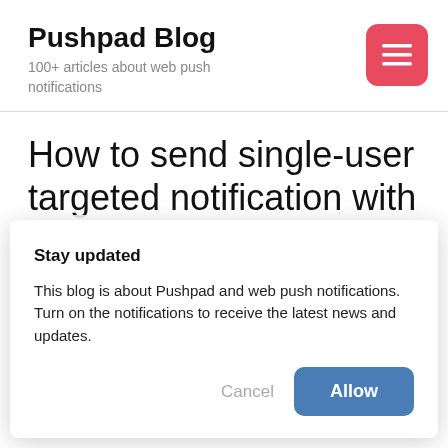Pushpad Blog
100+ articles about web push notifications
[Figure (other): Red hamburger menu button with three horizontal lines]
How to send single-user targeted notification with
Stay updated
This blog is about Pushpad and web push notifications. Turn on the notifications to receive the latest news and updates.
Cancel
Allow